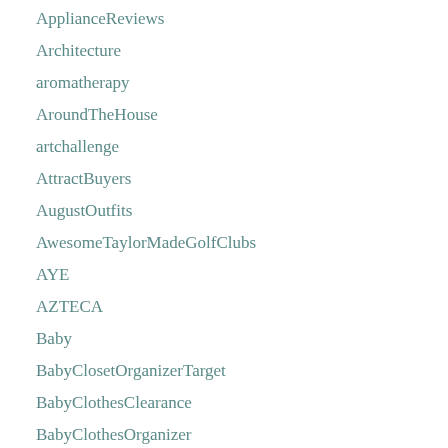ApplianceReviews
Architecture
aromatherapy
AroundTheHouse
artchallenge
AttractBuyers
AugustOutfits
AwesomeTaylorMadeGolfClubs
AYE
AZTECA
Baby
BabyClosetOrganizerTarget
BabyClothesClearance
BabyClothesOrganizer